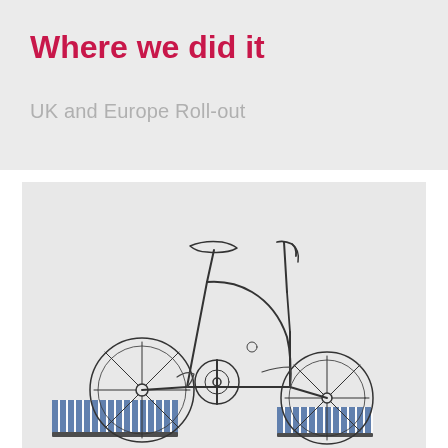Where we did it
UK and Europe Roll-out
[Figure (illustration): Line drawing / sketch of a folding bicycle (Brompton-style) on a striped blue and white platform/mat, rendered in pencil-like thin black lines on a light grey background.]